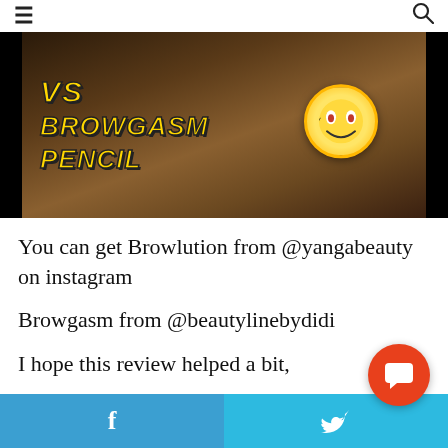≡  🔍
[Figure (screenshot): Thumbnail image with text 'VS BROWGASM PENCIL' in yellow italic bold font on dark background with a heart-eyes emoji circle on the right side]
You can get Browlution from @yangabeauty on instagram
Browgasm from @beautylinebydidi
I hope this review helped a bit,
f   🐦